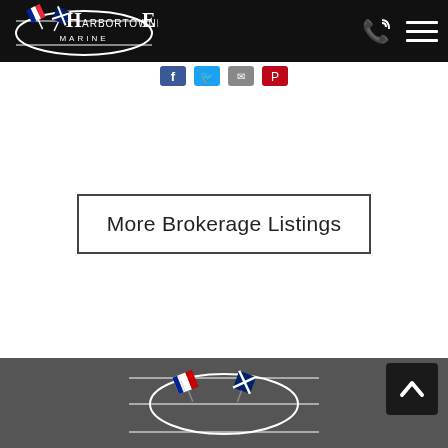Harbortowne Marine
[Figure (logo): Harbortowne Marine logo with oval containing crossed flags (French tricolor and blue Scottish cross flag), white text on black background]
[Figure (infographic): Social media sharing icons: Facebook (blue), Twitter (blue), email (gray), Pinterest (red)]
More Brokerage Listings
[Figure (logo): Harbortowne Marine footer logo with oval containing crossed flags on dark gray background]
[Figure (other): Back to top arrow button (upward chevron in dark square)]